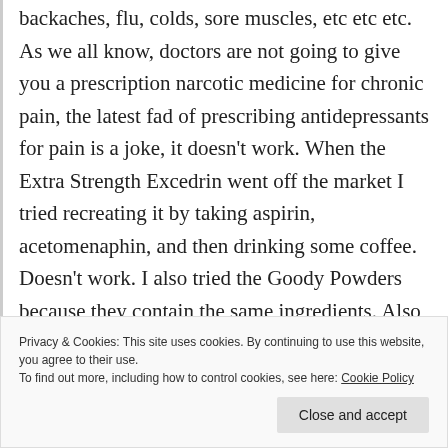backaches, flu, colds, sore muscles, etc etc etc. As we all know, doctors are not going to give you a prescription narcotic medicine for chronic pain, the latest fad of prescribing antidepressants for pain is a joke, it doesn’t work. When the Extra Strength Excedrin went off the market I tried recreating it by taking aspirin, acetomenaphin, and then drinking some coffee. Doesn’t work. I also tried the Goody Powders because they contain the same ingredients. Also doesn’t work. Don’t know why the Excedrin works, but apparently it does for many people, not
Privacy & Cookies: This site uses cookies. By continuing to use this website, you agree to their use. To find out more, including how to control cookies, see here: Cookie Policy